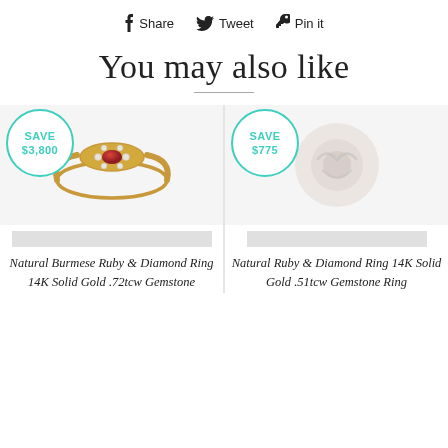Share  Tweet  Pin it
You may also like
[Figure (photo): Gold ring with ruby gemstone and diamond accents - Natural Burmese Ruby & Diamond Ring 14K Solid Gold .72tcw Gemstone]
[Figure (photo): Natural Ruby & Diamond Ring 14K Solid Gold .51tcw Gemstone Ring (blurred/logo placeholder image)]
Natural Burmese Ruby & Diamond Ring 14K Solid Gold .72tcw Gemstone
Natural Ruby & Diamond Ring 14K Solid Gold .51tcw Gemstone Ring